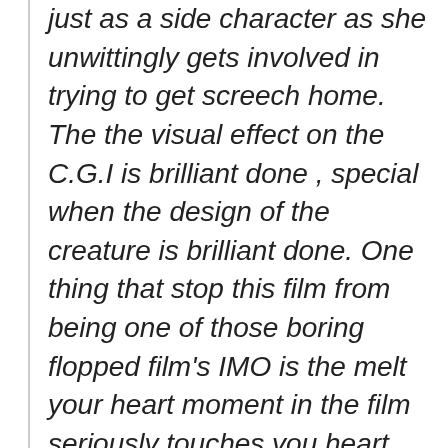just as a side character as she unwittingly gets involved in trying to get screech home. The the visual effect on the C.G.I is brilliant done , special when the design of the creature is brilliant done. One thing that stop this film from being one of those boring flopped film's IMO is the melt your heart moment in the film seriously touches you heart put a tear in your eye's. It's beautifully done moments along with the action make this a worth while film to watch with your family ,